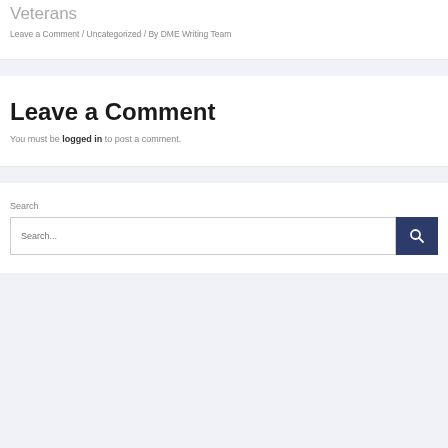Veterans
Leave a Comment / Uncategorized / By DME Writing Team
Leave a Comment
You must be logged in to post a comment.
Search
Search...